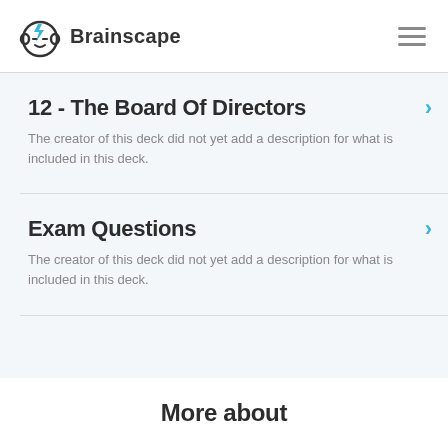Brainscape
12 - The Board Of Directors
The creator of this deck did not yet add a description for what is included in this deck.
Exam Questions
The creator of this deck did not yet add a description for what is included in this deck.
More about